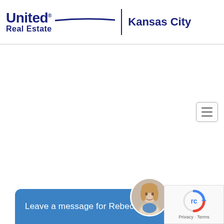[Figure (logo): United Real Estate Kansas City logo with swoosh underline and Kansas City text]
[Figure (screenshot): Hamburger menu button (three horizontal lines) in a rounded rectangle border]
Leave a message for Rebecca
[Figure (photo): Circular profile photo of Rebecca, a woman with blonde hair]
[Figure (logo): Google reCAPTCHA badge with spinning logo and Privacy - Terms text]